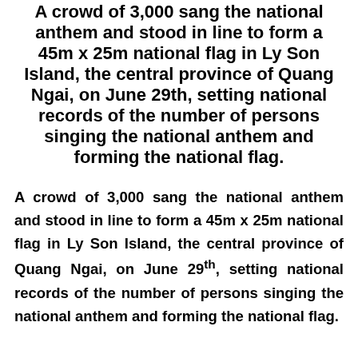A crowd of 3,000 sang the national anthem and stood in line to form a 45m x 25m national flag in Ly Son Island, the central province of Quang Ngai, on June 29th, setting national records of the number of persons singing the national anthem and forming the national flag.
A crowd of 3,000 sang the national anthem and stood in line to form a 45m x 25m national flag in Ly Son Island, the central province of Quang Ngai, on June 29th, setting national records of the number of persons singing the national anthem and forming the national flag.